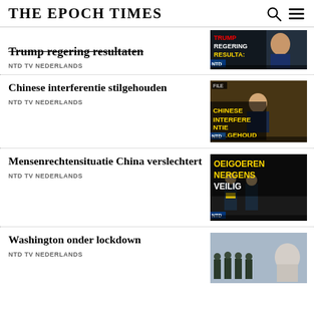THE EPOCH TIMES
Trump regering resultaten
NTD TV NEDERLANDS
Chinese interferentie stilgehouden
NTD TV NEDERLANDS
Mensenrechtensituatie China verslechtert
NTD TV NEDERLANDS
Washington onder lockdown
NTD TV NEDERLANDS